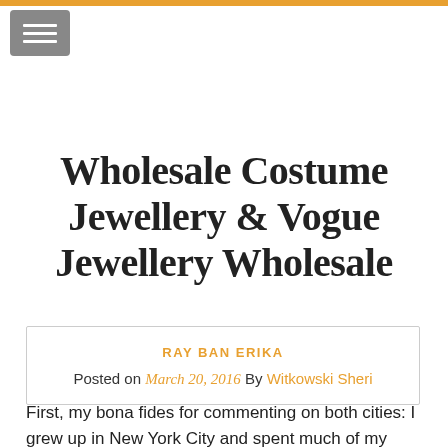Wholesale Costume Jewellery & Vogue Jewellery Wholesale
RAY BAN ERIKA
Posted on March 20, 2016 By Witkowski Sheri
First, my bona fides for commenting on both cities: I grew up in New York City and spent much of my youth